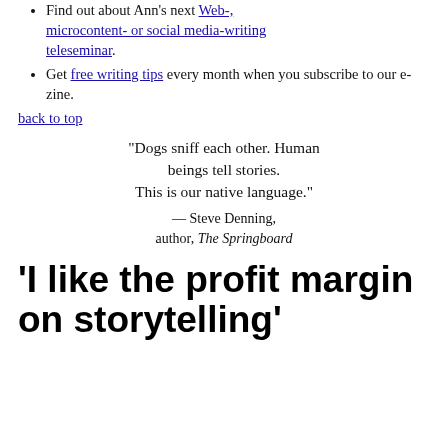Find out about Ann's next Web-, microcontent- or social media-writing teleseminar.
Get free writing tips every month when you subscribe to our e-zine.
back to top
“Dogs sniff each other. Human beings tell stories. This is our native language.” — Steve Denning, author, The Springboard
‘I like the profit margin on storytelling’